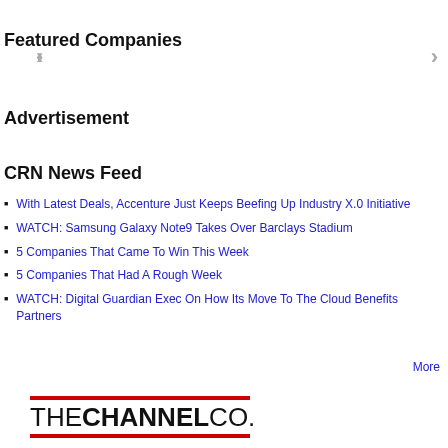Featured Companies
Advertisement
CRN News Feed
With Latest Deals, Accenture Just Keeps Beefing Up Industry X.0 Initiative
WATCH: Samsung Galaxy Note9 Takes Over Barclays Stadium
5 Companies That Came To Win This Week
5 Companies That Had A Rough Week
WATCH: Digital Guardian Exec On How Its Move To The Cloud Benefits Partners
More
[Figure (logo): The Channel Co. logo with red horizontal bars above and below the text]